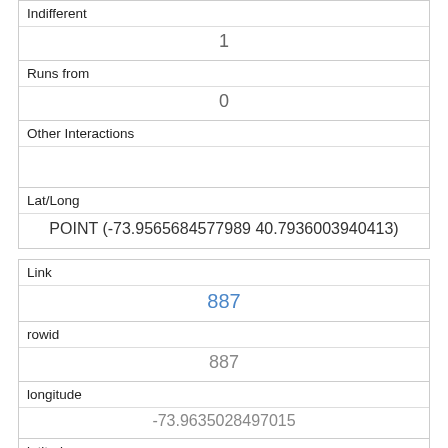| Indifferent |  |
|  | 1 |
| Runs from |  |
|  | 0 |
| Other Interactions |  |
|  |  |
| Lat/Long |  |
|  | POINT (-73.9565684577989 40.7936003940413) |
| Link |  |
|  | 887 |
| rowid |  |
|  | 887 |
| longitude |  |
|  | -73.9635028497015 |
| latitude |  |
|  | 40.7928207574906 |
| Unique Squirrel ID |  |
|  | 32A-PM-1013-05 |
| Hectare |  |
|  | 32A |